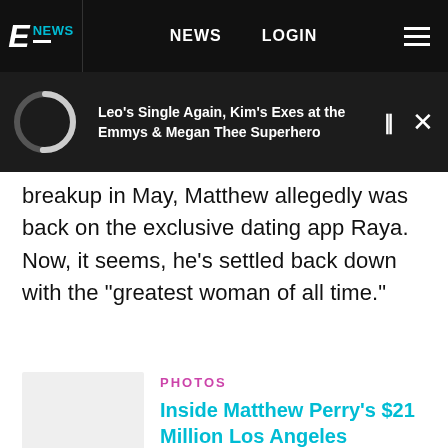E NEWS  NEWS  LOGIN
Leo's Single Again, Kim's Exes at the Emmys & Megan Thee Superhero
breakup in May, Matthew allegedly was back on the exclusive dating app Raya. Now, it seems, he's settled back down with the "greatest woman of all time."
PHOTOS
Inside Matthew Perry's $21 Million Los Angeles Penthouse